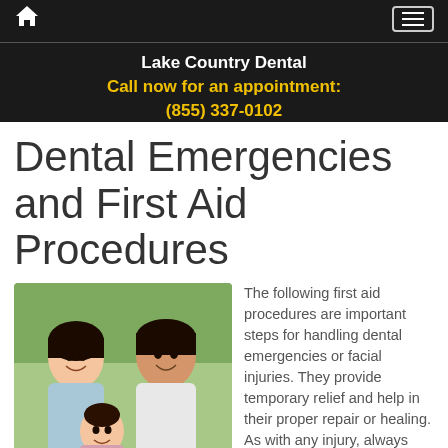Lake Country Dental
Call now for an appointment:
(855) 337-0102
Dental Emergencies and First Aid Procedures
[Figure (photo): Family photo showing a woman, man, and baby smiling together outdoors]
The following first aid procedures are important steps for handling dental emergencies or facial injuries. They provide temporary relief and help in their proper repair or healing. As with any injury, always follow up with personal care from your dentist or physician.